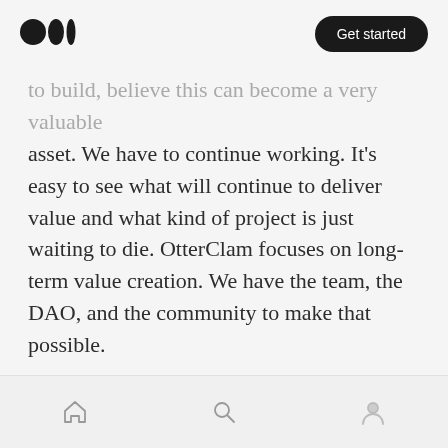Medium logo | Get started
to build, believe this can become a very valuable asset. We have to continue working. It's easy to see what will continue to deliver value and what kind of project is just waiting to die. OtterClam focuses on long-term value creation. We have the team, the DAO, and the community to make that possible.
Closing Remarks
Considering the relatively short lifespan of the project — OtterClam is not even 6 months old — it is incredible to see how much has happened in
Home | Search | Profile